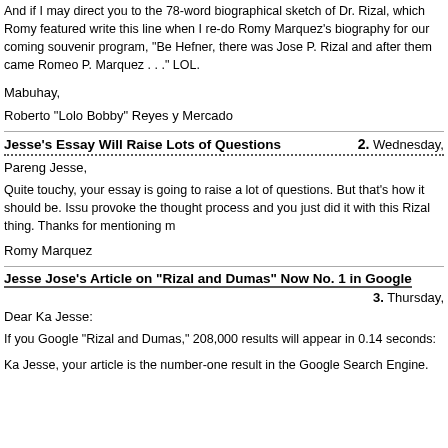And if I may direct you to the 78-word biographical sketch of Dr. Rizal, which Romy featured write this line when I re-do Romy Marquez's biography for our coming souvenir program, "Be Hefner, there was Jose P. Rizal and after them came Romeo P. Marquez . . ." LOL.
Mabuhay,
Roberto "Lolo Bobby" Reyes y Mercado
Jesse's Essay Will Raise Lots of Questions
2. Wednesday,
Pareng Jesse,
Quite touchy, your essay is going to raise a lot of questions. But that's how it should be. Issu provoke the thought process and you just did it with this Rizal thing. Thanks for mentioning m
Romy Marquez
Jesse Jose's Article on "Rizal and Dumas" Now No. 1 in Google
3. Thursday,
Dear Ka Jesse:
If you Google "Rizal and Dumas," 208,000 results will appear in 0.14 seconds:
Ka Jesse, your article is the number-one result in the Google Search Engine.